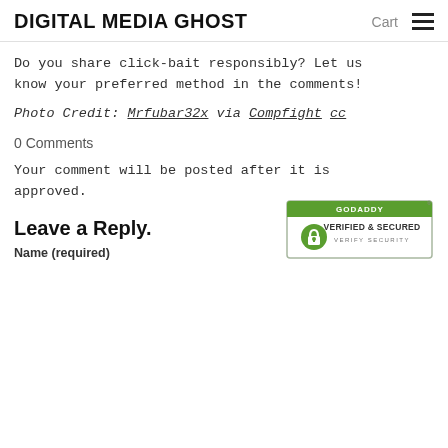DIGITAL MEDIA GHOST  Cart ☰
Do you share click-bait responsibly? Let us know your preferred method in the comments!
Photo Credit: Mrfubar32x via Compfight cc
0 Comments
Your comment will be posted after it is approved.
Leave a Reply.
Name (required)
[Figure (logo): GoDaddy Verified & Secured badge with lock icon and green border]